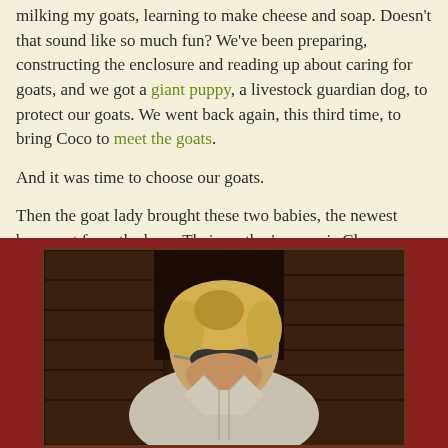milking my goats, learning to make cheese and soap. Doesn't that sound like so much fun? We've been preparing, constructing the enclosure and reading up about caring for goats, and we got a giant puppy, a livestock guardian dog, to protect our goats. We went back again, this third time, to bring Coco to meet the goats.
And it was time to choose our goats.
Then the goat lady brought these two babies, the newest born, out from the barn. Their mother's name is Clover.
[Figure (photo): A person with short blonde hair wearing sunglasses and a light-colored jacket, looking downward, photographed outdoors near a dark wooden barn structure.]